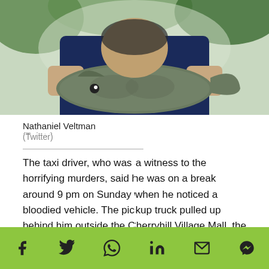[Figure (photo): Person in blue shirt holding a large fish outdoors]
Nathaniel Veltman
(Twitter)
The taxi driver, who was a witness to the horrifying murders, said he was on a break around 9 pm on Sunday when he noticed a bloodied vehicle. The pickup truck pulled up behind him outside the Cherryhill Village Mall, the London Free Press of Canada reported.
Veltman then emerged from his vehicle and was laughing as he approached the cabbie and told him to call the police, in a shocked, thrilling tone — Yell...